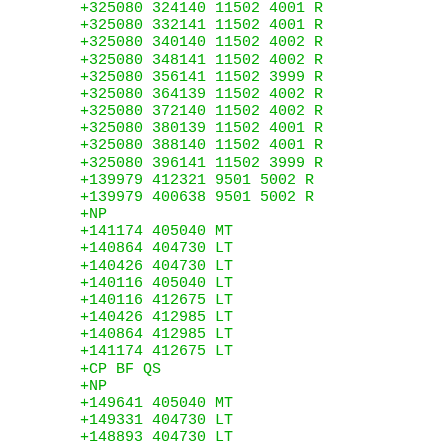+325080 324140 11502 4001 R
+325080 332141 11502 4001 R
+325080 340140 11502 4002 R
+325080 348141 11502 4002 R
+325080 356141 11502 3999 R
+325080 364139 11502 4002 R
+325080 372140 11502 4002 R
+325080 380139 11502 4001 R
+325080 388140 11502 4001 R
+325080 396141 11502 3999 R
+139979 412321 9501 5002 R
+139979 400638 9501 5002 R
+NP
+141174 405040 MT
+140864 404730 LT
+140426 404730 LT
+140116 405040 LT
+140116 412675 LT
+140426 412985 LT
+140864 412985 LT
+141174 412675 LT
+CP BF QS
+NP
+149641 405040 MT
+149331 404730 LT
+148893 404730 LT
+148583 405040 LT
+148583 412675 LT
+148893 412985 LT
+149331 412985 LT